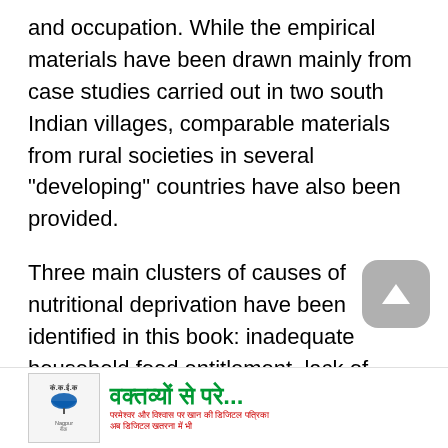and occupation. While the empirical materials have been drawn mainly from case studies carried out in two south Indian villages, comparable materials from rural societies in several "developing" countries have also been provided.
Three main clusters of causes of nutritional deprivation have been identified in this book: inadequate household food entitlement, lack of women's control over resources and malnutrition-infection complex.
Food ... hous... either
[Figure (other): Advertisement banner showing an insurance company logo (umbrella icon) with Hindi text 'वक्तव्यों से परे...' and a subline in Hindi/Devanagari script]